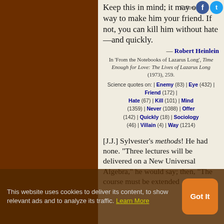Keep this in mind; it may offer a way to make him your friend. If not, you can kill him without hate—and quickly.
— Robert Heinlein
In 'From the Notebooks of Lazarus Long', Time Enough for Love: The Lives of Lazarus Long (1973), 259.
Science quotes on: | Enemy (83) | Eye (432) | Friend (172) | Hate (67) | Kill (101) | Mind (1359) | Never (1088) | Offer (142) | Quickly (18) | Sociology (46) | Villain (4) | Way (1214)
[J.J.] Sylvester's methods! He had none. "Three lectures will be delivered on a New Universal Algebra," he would say; then, "The course must be extended
This website uses cookies to deliver its content, to show relevant ads and to analyze its traffic. Learn More